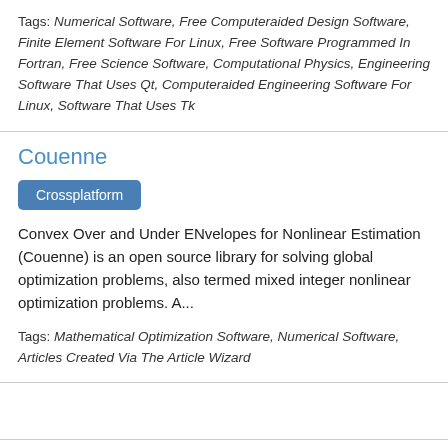Tags: Numerical Software, Free Computeraided Design Software, Finite Element Software For Linux, Free Software Programmed In Fortran, Free Science Software, Computational Physics, Engineering Software That Uses Qt, Computeraided Engineering Software For Linux, Software That Uses Tk
Couenne
Crossplatform
Convex Over and Under ENvelopes for Nonlinear Estimation (Couenne) is an open source library for solving global optimization problems, also termed mixed integer nonlinear optimization problems. A...
Tags: Mathematical Optimization Software, Numerical Software, Articles Created Via The Article Wizard